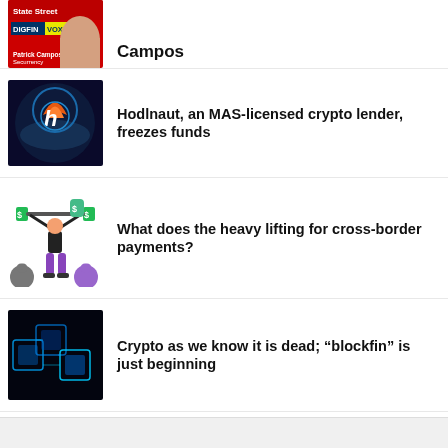[Figure (photo): DIGFIN VOX thumbnail with Patrick Campos, Securrency]
Campos
[Figure (photo): Hodlnaut logo — crypto lender]
Hodlnaut, an MAS-licensed crypto lender, freezes funds
[Figure (illustration): Weightlifter emoji illustration for cross-border payments article]
What does the heavy lifting for cross-border payments?
[Figure (photo): Blue blockchain cube digital illustration]
Crypto as we know it is dead; “blockfin” is just beginning
[Figure (photo): Sports fans cheering photo for ScoutX.io article]
ScoutX.io turns sports into a fintech investment product